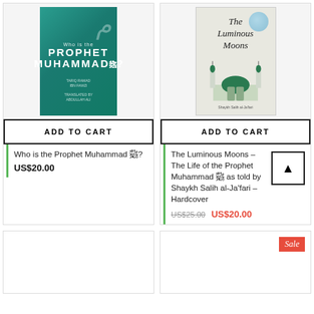[Figure (photo): Book cover: Who is the Prophet Muhammad?, teal/green cover with Arabic calligraphy]
ADD TO CART
Who is the Prophet Muhammad ﷺ?
US$20.00
[Figure (photo): Book cover: The Luminous Moons, cream cover with mosque illustration and blue moon]
ADD TO CART
The Luminous Moons – The Life of the Prophet Muhammad ﷺ as told by Shaykh Salih al-Ja'fari – Hardcover
US$25.00  US$20.00
[Figure (other): Empty product card placeholder (bottom left)]
[Figure (other): Empty product card placeholder (bottom right) with Sale badge]